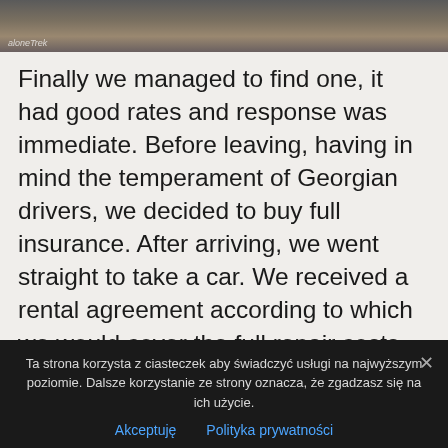[Figure (photo): Top portion of a photo showing cobblestone or patterned stone surface, partially cropped, with a watermark in the lower-left corner.]
Finally we managed to find one, it had good rates and response was immediate. Before leaving, having in mind the temperament of Georgian drivers, we decided to buy full insurance. After arriving, we went straight to take a car. We received a rental agreement according to which we would cover the full repair costs and the car didn't have any damages. As a matter of fact the car was actually dented and scratched from every side. The assistant explained that she was only
Ta strona korzysta z ciasteczek aby świadczyć usługi na najwyższym poziomie. Dalsze korzystanie ze strony oznacza, że zgadzasz się na ich użycie.
Akceptuję  Polityka prywatności